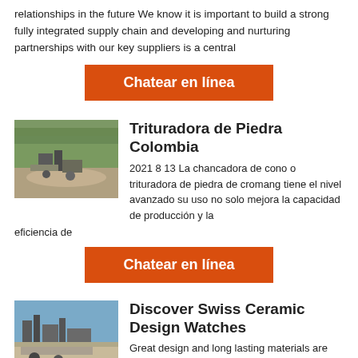relationships in the future We know it is important to build a strong fully integrated supply chain and developing and nurturing partnerships with our key suppliers is a central
[Figure (other): Orange button with white bold text reading 'Chatear en línea']
[Figure (photo): Aerial or ground-level photo of a stone quarry/crushing site with machinery and rubble]
Trituradora de Piedra Colombia
2021 8 13 La chancadora de cono o trituradora de piedra de cromang tiene el nivel avanzado su uso no solo mejora la capacidad de producción y la eficiencia de
[Figure (other): Orange button with white bold text reading 'Chatear en línea']
[Figure (photo): Photo of industrial crushing/mining equipment at an outdoor site with blue sky]
Discover Swiss Ceramic Design Watches
Great design and long lasting materials are intrinsic to all our watches including vintage watches sporty watches diving watches leather watches and more With over 30 years of specialising in high tech ceramic watches Rado has gone from one breakthrough to the next and has a long and proud history of innovation